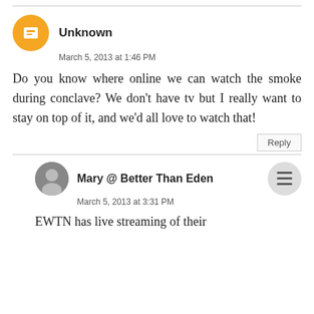Unknown
March 5, 2013 at 1:46 PM
Do you know where online we can watch the smoke during conclave? We don't have tv but I really want to stay on top of it, and we'd all love to watch that!
Reply
Mary @ Better Than Eden
March 5, 2013 at 3:31 PM
EWTN has live streaming of their